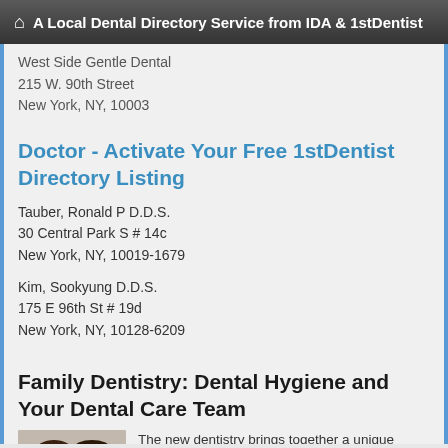A Local Dental Directory Service from IDA & 1stDentist
West Side Gentle Dental
215 W. 90th Street
New York, NY, 10003
Doctor - Activate Your Free 1stDentist Directory Listing
Tauber, Ronald P D.D.S.
30 Central Park S # 14c
New York, NY, 10019-1679
Kim, Sookyung D.D.S.
175 E 96th St # 19d
New York, NY, 10128-6209
Family Dentistry: Dental Hygiene and Your Dental Care Team
The new dentistry brings together a unique complement of skills, knowledge, and capabilities with no primary focus on any...